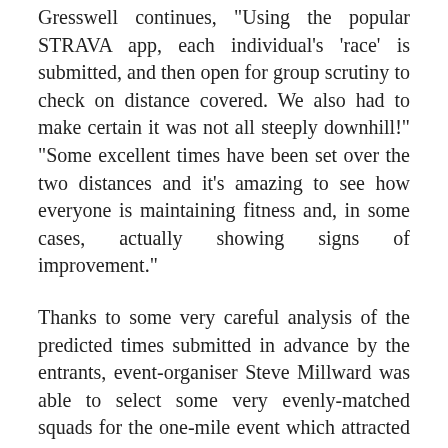Gresswell continues, "Using the popular STRAVA app, each individual's 'race' is submitted, and then open for group scrutiny to check on distance covered. We also had to make certain it was not all steeply downhill!" "Some excellent times have been set over the two distances and it's amazing to see how everyone is maintaining fitness and, in some cases, actually showing signs of improvement."
Thanks to some very careful analysis of the predicted times submitted in advance by the entrants, event-organiser Steve Millward was able to select some very evenly-matched squads for the one-mile event which attracted 64 runners.
The winning team was made up of Steve Kenyon (recorded time 4:43), Russell Kirby (6:57), Matt Atkins (5:17) and Kirsty Martin (5:36).